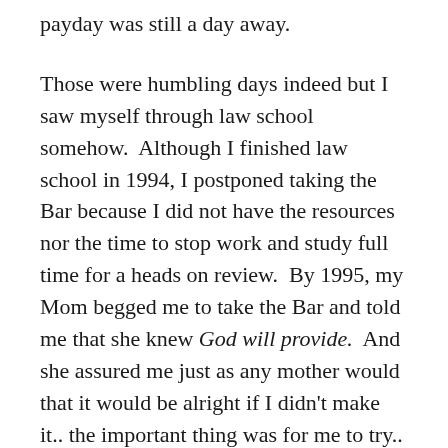payday was still a day away.
Those were humbling days indeed but I saw myself through law school somehow.  Although I finished law school in 1994, I postponed taking the Bar because I did not have the resources nor the time to stop work and study full time for a heads on review.  By 1995, my Mom begged me to take the Bar and told me that she knew God will provide.  And she assured me just as any mother would that it would be alright if I didn't make it.. the important thing was for me to try..
So I filed my application before the deadline in June, and I took a leave of absence from work only the week before the Bar month of September.  (The Bar exams